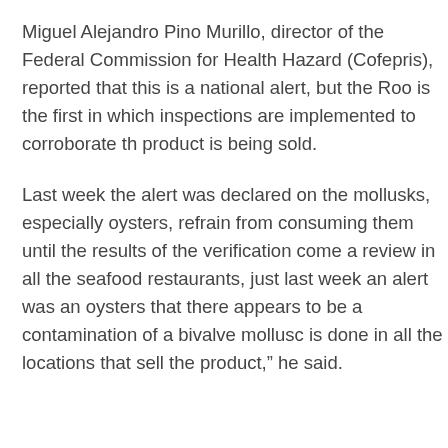Miguel Alejandro Pino Murillo, director of the Federal Commission for Health Hazard (Cofepris), reported that this is a national alert, but the Roo is the first in which inspections are implemented to corroborate the product is being sold.
Last week the alert was declared on the mollusks, especially oysters, refrain from consuming them until the results of the verification come a review in all the seafood restaurants, just last week an alert was an oysters that there appears to be a contamination of a bivalve mollusc is done in all the locations that sell the product," he said.